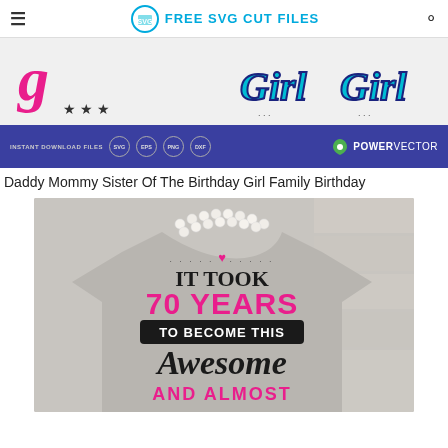FREE SVG CUT FILES
[Figure (screenshot): Website banner showing SVG cut file designs with 'Girl Girl' text in pink and cyan cursive, with a purple bar showing INSTANT DOWNLOAD FILES SVG EPS PNG DXF and POWERVECTOR logo]
Daddy Mommy Sister Of The Birthday Girl Family Birthday
[Figure (photo): Gray t-shirt with pearl necklace showing design text: IT TOOK 70 YEARS TO BECOME THIS Awesome AND ALMOST PERFECT in black and pink lettering]